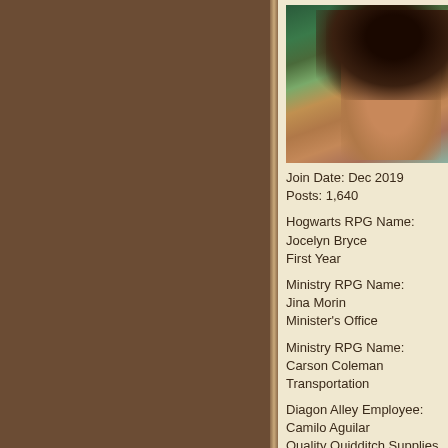[Figure (photo): Animated character avatar - appears to be Moana from Disney, with dark long hair and floral headpiece, looking upward]
Join Date: Dec 2019
Posts: 1,640
Hogwarts RPG Name:
Jocelyn Bryce
First Year
Ministry RPG Name:
Jina Morin
Minister's Office
Ministry RPG Name:
Carson Coleman
Transportation
Diagon Alley Employee:
Camilo Aguilar
Quality Quidditch Supplies
Diagon Alley Employee:
Tabatha Krauss
Janus Galloglass
morning and ea... underst... was be... more p...
Her kind sm... planned in... painting on... entails offe... Departmen... errands, or... he could do... more was e... breath and... the envelop...
"... which i... Assistant. to protect ... have gotte... Ministry of...
To answer ... of the fwoo...
[Figure (photo): Partial image of what appears to be a waterfall or nature scene at the bottom right]